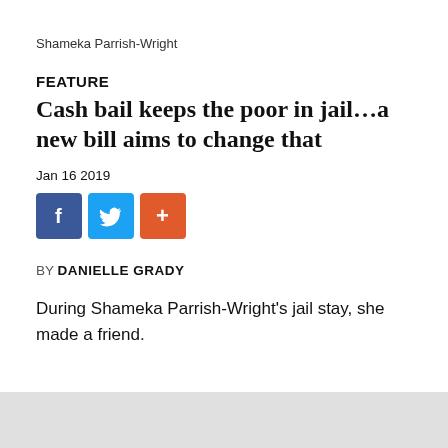Shameka Parrish-Wright
FEATURE
Cash bail keeps the poor in jail...a new bill aims to change that
Jan 16 2019
[Figure (other): Social media share buttons: Facebook (blue), Twitter (light blue), and a plus/share button (orange-red)]
BY DANIELLE GRADY
During Shameka Parrish-Wright's jail stay, she made a friend.